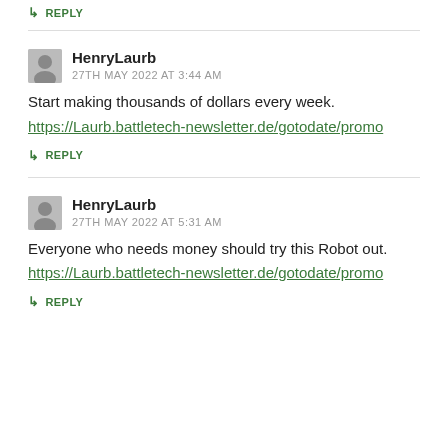↳ REPLY
HenryLaurb
27TH MAY 2022 AT 3:44 AM
Start making thousands of dollars every week.
https://Laurb.battletech-newsletter.de/gotodate/promo
↳ REPLY
HenryLaurb
27TH MAY 2022 AT 5:31 AM
Everyone who needs money should try this Robot out.
https://Laurb.battletech-newsletter.de/gotodate/promo
↳ REPLY